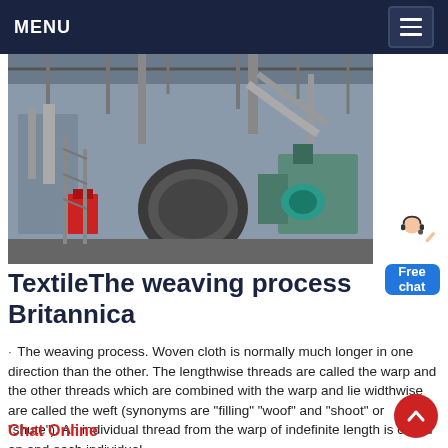MENU
[Figure (photo): Industrial factory interior with large machinery, pipes, and equipment in a steel mill or textile manufacturing plant]
TextileThe weaving process Britannica
The weaving process. Woven cloth is normally much longer in one direction than the other. The lengthwise threads are called the warp and the other threads which are combined with the warp and lie widthwise are called the weft (synonyms are "filling" "woof" and "shoot" or "shute"). An individual thread from the warp of indefinite length is called an end each individual
Chat Online